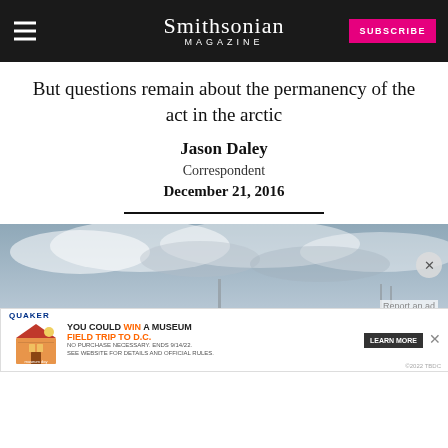Smithsonian Magazine
But questions remain about the permanency of the act in the arctic
Jason Daley
Correspondent
December 21, 2016
[Figure (photo): Arctic landscape photo with overcast sky and snow/ice with structures visible in the lower portion. An advertisement banner for Quaker/Museum Day field trip overlays the lower section of the image.]